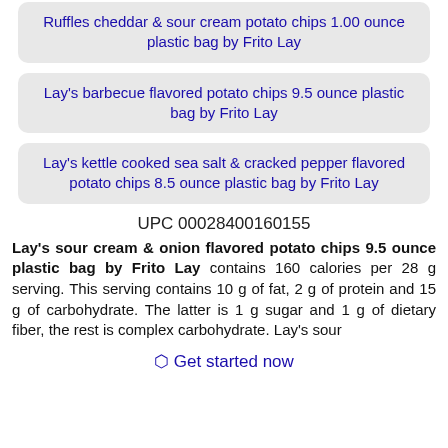Ruffles cheddar & sour cream potato chips 1.00 ounce plastic bag by Frito Lay
Lay's barbecue flavored potato chips 9.5 ounce plastic bag by Frito Lay
Lay's kettle cooked sea salt & cracked pepper flavored potato chips 8.5 ounce plastic bag by Frito Lay
UPC 00028400160155
Lay's sour cream & onion flavored potato chips 9.5 ounce plastic bag by Frito Lay contains 160 calories per 28 g serving. This serving contains 10 g of fat, 2 g of protein and 15 g of carbohydrate. The latter is 1 g sugar and 1 g of dietary fiber, the rest is complex carbohydrate. Lay's sour
⬡ Get started now